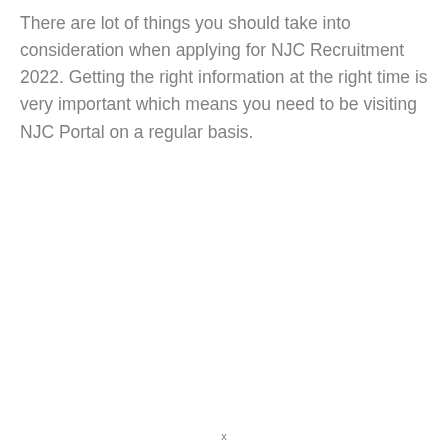There are lot of things you should take into consideration when applying for NJC Recruitment 2022. Getting the right information at the right time is very important which means you need to be visiting NJC Portal on a regular basis.
x